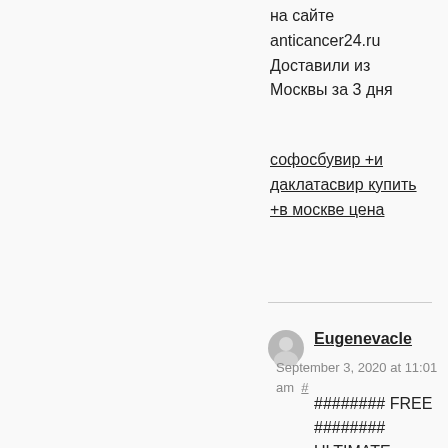на сайте anticancer24.ru Доставили из Москвы за 3 дня
софосбувир +и даклатасвир купить +в москве цена
Eugenevacle
September 3, 2020 at 11:01 am #
######## FREE ######## ULTIMATE PTHC COLLECTION